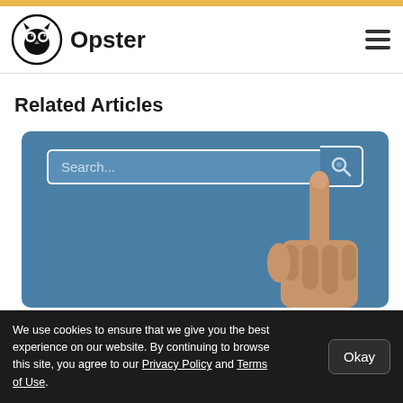[Figure (logo): Opster logo with owl icon and text 'Opster']
Related Articles
[Figure (screenshot): Search bar interface with a finger pointing at a search button, set on a blue/teal background]
We use cookies to ensure that we give you the best experience on our website. By continuing to browse this site, you agree to our Privacy Policy and Terms of Use.